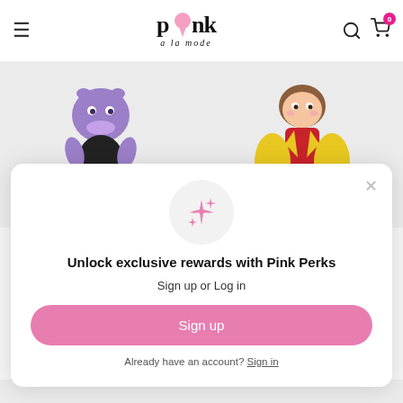pink a la mode — navigation header with hamburger menu, logo, search and cart icons
[Figure (photo): Two collectible figurines on a light grey background: left is a purple alien-like character with black body/legs, right is a cute doll in a yellow coat with red dress.]
Unlock exclusive rewards with Pink Perks
Sign up or Log in
Sign up
Already have an account? Sign in